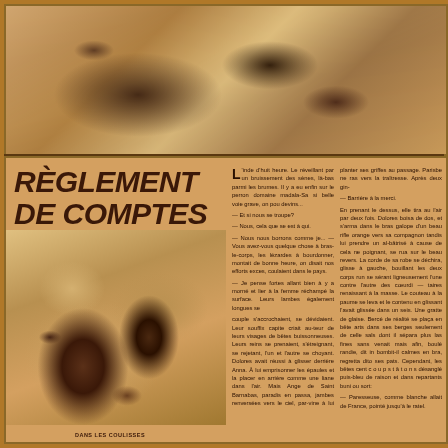[Figure (photo): Black and white sepia photo of what appears to be animals (possibly cats or dogs) in close-up, lying down on a surface]
RÈGLEMENT DE COMPTES
* LES CHERCHEUSES D'OR *
[Figure (photo): Sepia photograph showing two human figures, one lifting or holding the other, in a dramatic pose]
L'inde d'huit heure. Le réveillant par un bruissement des ailes, là-bas parmi les sènes. Il y a eu enfin sur le perron domaine madala-Sa si belle voie grave, on pou devius... — Et si nous so troupe? — Nous, cela que ce est à qui... — Nous nous hor, vous comme je... [article text continues in French]
DANS LES COULISSES